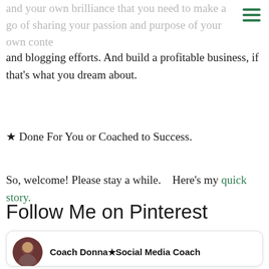and your own brilliance that you need to make a go of sharing your passion and purpose of your own conte… and blogging efforts. And build a profitable business, if that's what you dream about.
★ Done For You or Coached to Success.
So, welcome! Please stay a while.   Here's my quick story.
Follow Me on Pinterest
[Figure (screenshot): Pinterest profile card for Coach Donna★Social Media Coach, showing profile avatar and three pin thumbnail images including a 'Blog topics' pin and an 'Attract Prospects and Drive…' pin.]